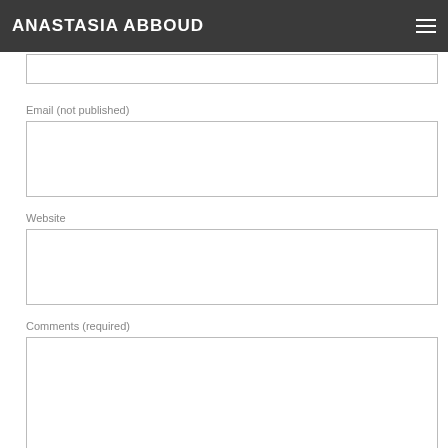ANASTASIA ABBOUD
Name (required)
Email (not published)
Website
Comments (required)